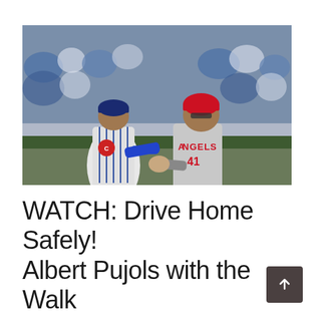[Figure (photo): Two baseball players shaking hands on a baseball field. The player on the left wears a Chicago Cubs white pinstripe uniform. The player on the right wears a Los Angeles Angels grey road uniform with number 41 and a red helmet. Crowd visible in the background.]
WATCH: Drive Home Safely! Albert Pujols with the Walk Off